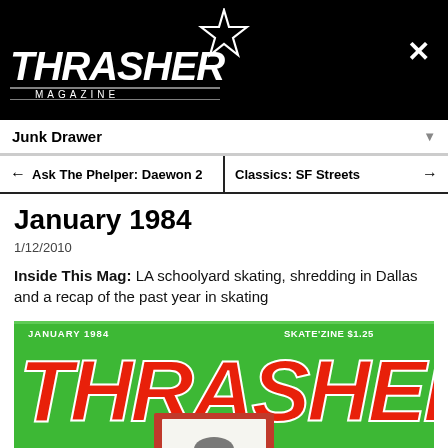[Figure (logo): Thrasher Magazine website screenshot header. Black banner with a pentagram star at the top center, Thrasher Magazine logo on the left and an X close button on the right.]
Junk Drawer
Ask The Phelper: Daewon 2 | Classics: SF Streets
January 1984
1/12/2010
Inside This Mag: LA schoolyard skating, shredding in Dallas and a recap of the past year in skating
[Figure (photo): Thrasher Magazine January 1984 cover. Green background with large red Thrasher logo text. Top reads JANUARY 1984 and SKATE'ZINE $1.25. Shows partial cover image below the logo.]